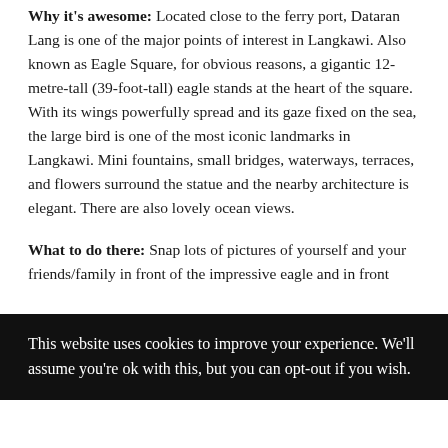Why it's awesome: Located close to the ferry port, Dataran Lang is one of the major points of interest in Langkawi. Also known as Eagle Square, for obvious reasons, a gigantic 12-metre-tall (39-foot-tall) eagle stands at the heart of the square. With its wings powerfully spread and its gaze fixed on the sea, the large bird is one of the most iconic landmarks in Langkawi. Mini fountains, small bridges, waterways, terraces, and flowers surround the statue and the nearby architecture is elegant. There are also lovely ocean views.
What to do there: Snap lots of pictures of yourself and your friends/family in front of the impressive eagle and in front
This website uses cookies to improve your experience. We'll assume you're ok with this, but you can opt-out if you wish.